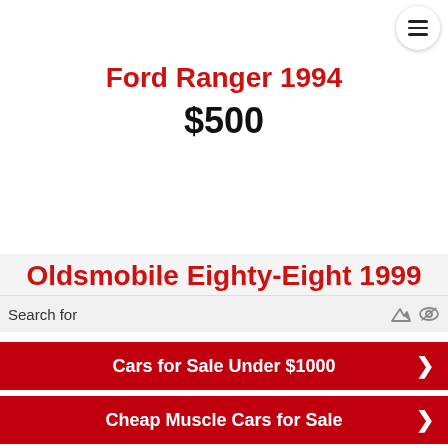[Figure (logo): Partial circular logo/icon visible at top center, cropped]
Ford Ranger 1994
$500
[Figure (illustration): No photo yet placeholder with camera icon in a circle]
Oldsmobile Eighty-Eight 1999
Search for
Cars for Sale Under $1000
Cheap Muscle Cars for Sale